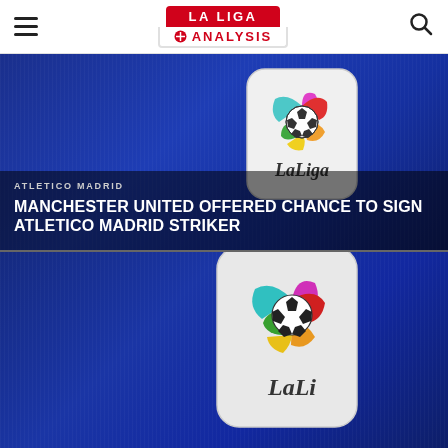LA LIGA ANALYSIS
[Figure (photo): Close-up of a LaLiga emblem/badge on a blue football jersey, showing the colorful circular logo with a football in the center and 'LaLiga' text]
ATLETICO MADRID
MANCHESTER UNITED OFFERED CHANCE TO SIGN ATLETICO MADRID STRIKER
[Figure (photo): Second close-up of a LaLiga emblem/badge on a blue football jersey, similar to the top image, with colorful circular logo and 'LaLi' text visible]